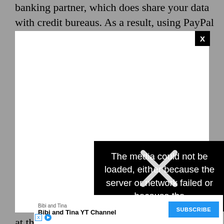banking partner, which does share your data with credit bureaus. As a result, using PayPal Credit may
[Figure (screenshot): A modal dialog with a white background and an X close button in the top-right corner. The modal contains a video player area that failed to load.]
[Figure (screenshot): A black error overlay box with white text reading: 'The media could not be loaded, either because the server or network failed or because the' with a large white X icon overlaid.]
at the
[Figure (screenshot): A YouTube-style advertisement bar at the bottom showing 'Bibi and Tina' channel with 'Bibi and Tina YT Channel' text and a blue SUBSCRIBE button.]